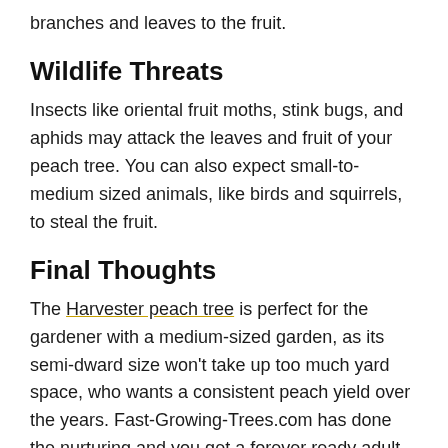branches and leaves to the fruit.
Wildlife Threats
Insects like oriental fruit moths, stink bugs, and aphids may attack the leaves and fruit of your peach tree. You can also expect small-to-medium sized animals, like birds and squirrels, to steal the fruit.
Final Thoughts
The Harvester peach tree is perfect for the gardener with a medium-sized garden, as its semi-dward size won't take up too much yard space, who wants a consistent peach yield over the years. Fast-Growing-Trees.com has done the nurturing and you get a forever ready adult tree to grow